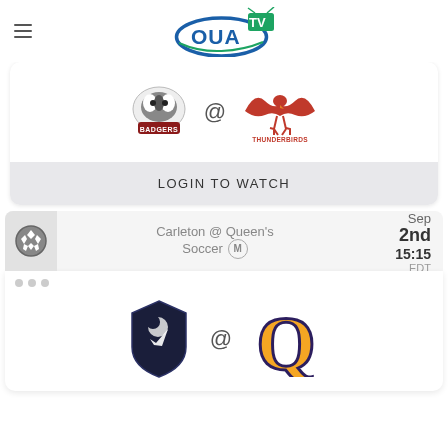[Figure (logo): OUA TV logo — blue oval with antenna TV icon and bold blue OUA text with green TV letters]
[Figure (illustration): Two sports team logos: Badgers (left) @ Thunderbirds (right)]
LOGIN TO WATCH
Carleton @ Queen's Soccer M
Sep 2nd 15:15 EDT
[Figure (illustration): Two sports team logos: dark shield with moon/bird mark (left) @ Q golden letter (right)]